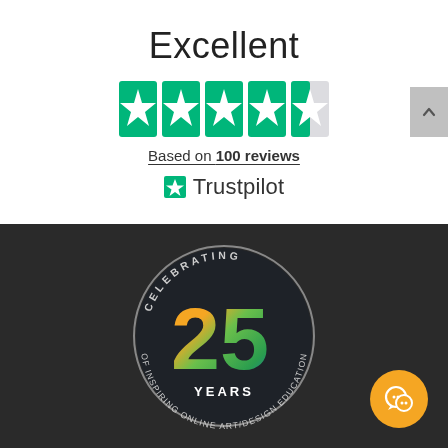Excellent
[Figure (other): Trustpilot 4.5 star rating shown as 5 green star icons (last one partially filled/grey), with text 'Based on 100 reviews' and Trustpilot logo below]
[Figure (logo): Celebrating 25 Years of Inspiring Online Art/Design Education circular badge logo with colorful gradient '25' numeral on dark background]
[Figure (other): Orange circular chat/support button in bottom right corner]